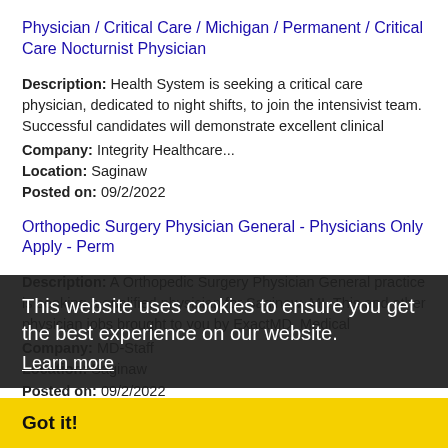Physician / Critical Care / Michigan / Permanent / Critical Care Nocturnist Physician
Description: Health System is seeking a critical care physician, dedicated to night shifts, to join the intensivist team. Successful candidates will demonstrate excellent clinical
Company: Integrity Healthcare...
Location: Saginaw
Posted on: 09/2/2022
Orthopedic Surgery Physician General - Physicians Only Apply - Perm
Description: A Orthopedic Surgery Physician General practice is seeking a qualified physician for Saginaw, MI. This and other physician jobs brought to you by ExactMD. Medical
Company: MD-Staff
Location: Saginaw
Posted on: 09/2/2022
Physician / Cardiology / Michigan / Locum or Permanent / Interventional Cardio opening
Description: Heart Group is recruiting an interventionalist not structural, to join a 10-physician cardiology practice that is part of the largest multi-specialty hospital-integrated physician group
This website uses cookies to ensure you get the best experience on our website.
Learn more
Got it!